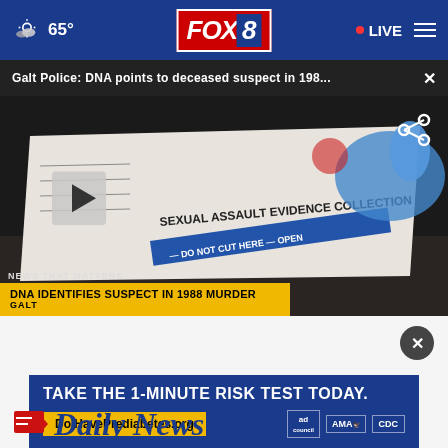65° FOX 8 • LIVE
Galt Police: DNA points to deceased suspect in 198...
[Figure (screenshot): Video thumbnail showing a sexual assault evidence collection kit being handled with blue latex gloves. Video player overlay with play button, share icon, 'NEWS THAT MATTERS' lower-third banner, and gold chyron reading 'DNA IDENTIFIES SUSPECT IN 1988 MURDER / GALT']
TAKE THE 1-MINUTE RISK TEST TODAY.
DoIHavePrediabetes.org
Daily News